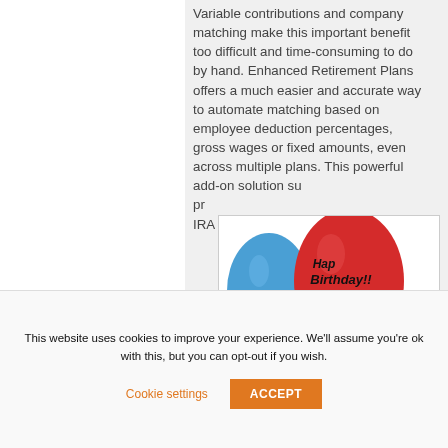Variable contributions and company matching make this important benefit too difficult and time-consuming to do by hand. Enhanced Retirement Plans offers a much easier and accurate way to automate matching based on employee deduction percentages, gross wages or fixed amounts, even across multiple plans. This powerful add-on solution su... pr... IRA...
[Figure (photo): A birthday balloon photo overlaid on the page, showing colorful balloons (red, blue, yellow) with 'Happy Birthday!!' written on the red balloon]
Go...
This website uses cookies to improve your experience. We'll assume you're ok with this, but you can opt-out if you wish.
Cookie settings   ACCEPT